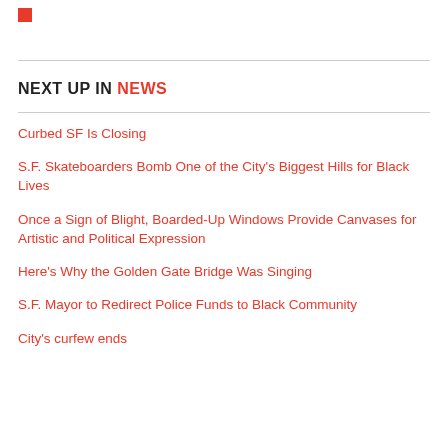NEXT UP IN NEWS
Curbed SF Is Closing
S.F. Skateboarders Bomb One of the City's Biggest Hills for Black Lives
Once a Sign of Blight, Boarded-Up Windows Provide Canvases for Artistic and Political Expression
Here's Why the Golden Gate Bridge Was Singing
S.F. Mayor to Redirect Police Funds to Black Community
City's curfew ends